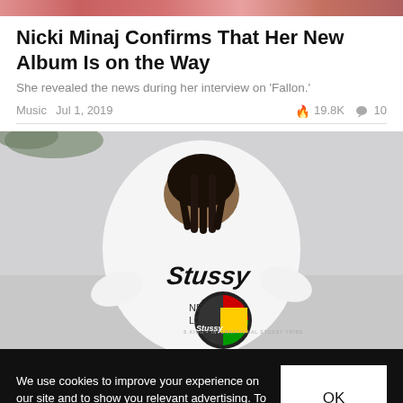[Figure (photo): Partial pink/red banner image at top of page]
Nicki Minaj Confirms That Her New Album Is on the Way
She revealed the news during her interview on 'Fallon.'
Music  Jul 1, 2019  🔥 19.8K  💬 10
[Figure (photo): Person wearing a white Stussy branded t-shirt, viewed from behind, with braided hair, against a grey sky with some foliage visible.]
We use cookies to improve your experience on our site and to show you relevant advertising. To find out more, read our privacy policy.